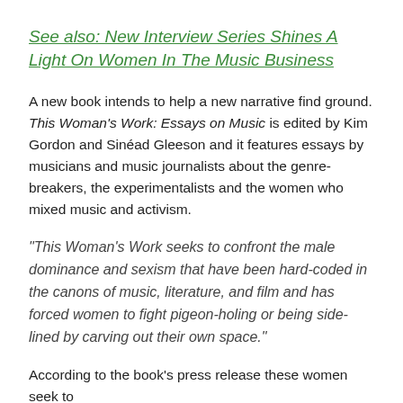See also: New Interview Series Shines A Light On Women In The Music Business
A new book intends to help a new narrative find ground. This Woman’s Work: Essays on Music is edited by Kim Gordon and Sinéad Gleeson and it features essays by musicians and music journalists about the genre-breakers, the experimentalists and the women who mixed music and activism.
“This Woman’s Work seeks to confront the male dominance and sexism that have been hard-coded in the canons of music, literature, and film and has forced women to fight pigeon-holing or being side-lined by carving out their own space.”
According to the book’s press release these women seek to